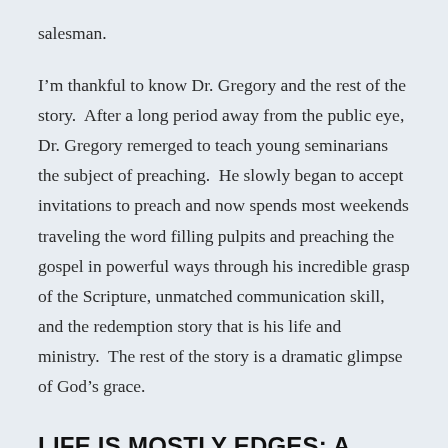salesman.
I'm thankful to know Dr. Gregory and the rest of the story.  After a long period away from the public eye, Dr. Gregory remerged to teach young seminarians the subject of preaching.  He slowly began to accept invitations to preach and now spends most weekends traveling the word filling pulpits and preaching the gospel in powerful ways through his incredible grasp of the Scripture, unmatched communication skill, and the redemption story that is his life and ministry.  The rest of the story is a dramatic glimpse of God’s grace.
LIFE IS MOSTLY EDGES: A MEMOIR BY CALVIN MILLER